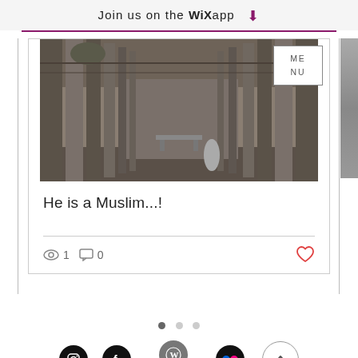Join us on the WiX app ⬇
[Figure (photo): Black and white photograph of a classical colonnade hallway with tall pillars and a bench in the background. Overlaid with a MENU box in the top right corner.]
He is a Muslim...!
👁 1   💬 0   ♥
[Figure (infographic): Carousel navigation dots: one filled (active) and two empty (inactive)]
[Figure (infographic): Social media footer icons: Instagram, Facebook, WordPress, Flickr, and a scroll-up arrow button. Below: Webmaster Login label.]